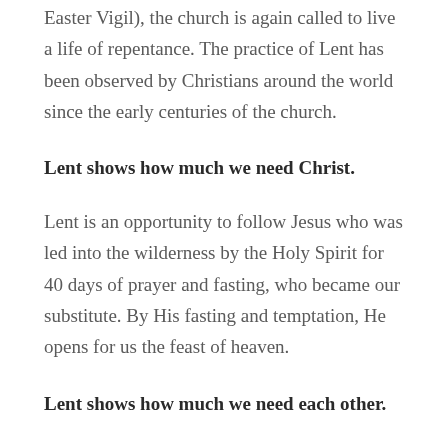Easter Vigil), the church is again called to live a life of repentance. The practice of Lent has been observed by Christians around the world since the early centuries of the church.
Lent shows how much we need Christ.
Lent is an opportunity to follow Jesus who was led into the wilderness by the Holy Spirit for 40 days of prayer and fasting, who became our substitute. By His fasting and temptation, He opens for us the feast of heaven.
Lent shows how much we need each other.